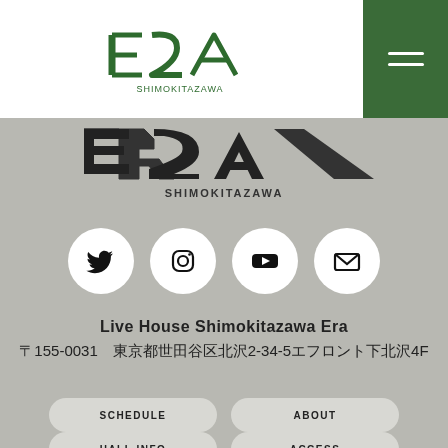[Figure (logo): ERA Shimokitazawa logo — stylized green outline letters with SHIMOKITAZAWA text below]
[Figure (logo): Large ERA Shimokitazawa logo on grey background with SHIMOKITAZAWA text]
[Figure (infographic): Four social media icons in white circles: Twitter, Instagram, YouTube, Email]
Live House Shimokitazawa Era
〒155-0031　東京都世田谷区北沢2-34-5エフロント下北沢4F
SCHEDULE
ABOUT
HALL INFO
ACCESS